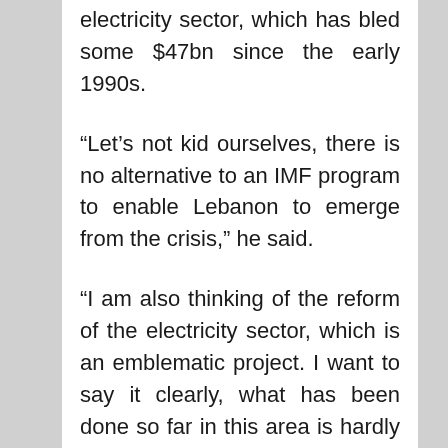electricity sector, which has bled some $47bn since the early 1990s.
“Let’s not kid ourselves, there is no alternative to an IMF program to enable Lebanon to emerge from the crisis,” he said.
“I am also thinking of the reform of the electricity sector, which is an emblematic project. I want to say it clearly, what has been done so far in this area is hardly encouraging.”
“What has to be done is clear – there is nothing to add to [Le Drian’s] words,” French diplomat Pierre Duquesne, who oversaw the